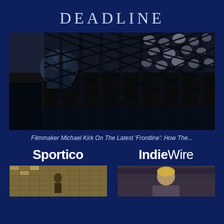DEADLINE
[Figure (photo): Large photograph showing security fencing in the foreground with the US Capitol dome visible in the background, dark and dramatic lighting]
Filmmaker Michael Kirk On The Latest 'Frontline': How The...
Sportico
IndieWire
[Figure (photo): Small thumbnail image showing decorative floor tiles or mosaic pattern]
[Figure (photo): Small thumbnail image showing a person with light/blonde hair, appears to be an interview or portrait setting]